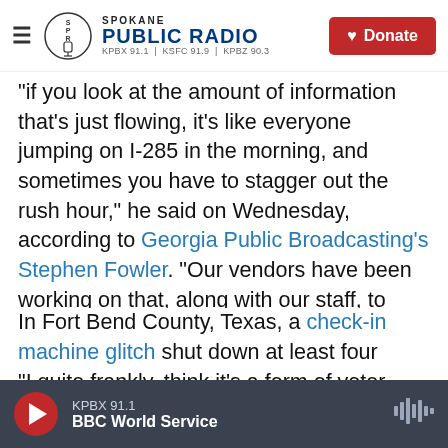Spokane Public Radio — KPBX 91.1 | KSFC 91.9 | KPBZ 90.3 — Donate
"if you look at the amount of information that's just flowing, it's like everyone jumping on I-285 in the morning, and sometimes you have to stagger out the rush hour," he said on Wednesday, according to Georgia Public Broadcasting's Stephen Fowler. "Our vendors have been working on that, along with our staff, to make sure we're looking at some other optimizations, and we should have that probably done by the end of this week."
In Fort Bend County, Texas, a check-in machine glitch shut down at least four precincts there.
"I quite frankly, think it's a form of voter
KPBX 91.1 — BBC World Service